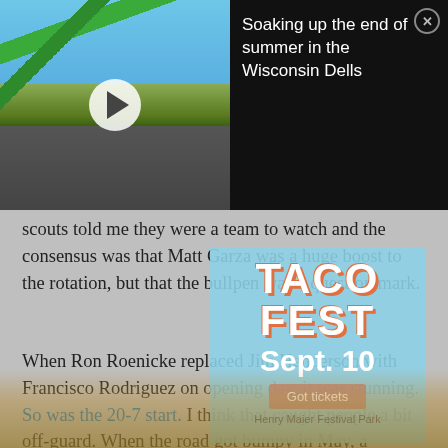[Figure (screenshot): Video thumbnail of waterpark/waterslides at Wisconsin Dells with a play button overlay]
Soaking up the end of summer in the Wisconsin Dells
scouts told me they were a team to watch and the consensus was that Matt Garza was a huge boost to the rotation, but that the bullpen was a question mark.
[Figure (infographic): Taco Fest advertisement overlay showing TACO FEST Sept. 10 with Got tickets button and Henry Maier Festival Park text]
When Ron Roenicke replaced Jim Henderson with Francisco Rodriguez on opening day, it was stunning. So was the 20-7 start. I think that caught people a bit off-guard. When the road got bumpy in May, a number of people were ready to jump off the bandwagon. But, they overcame some minor